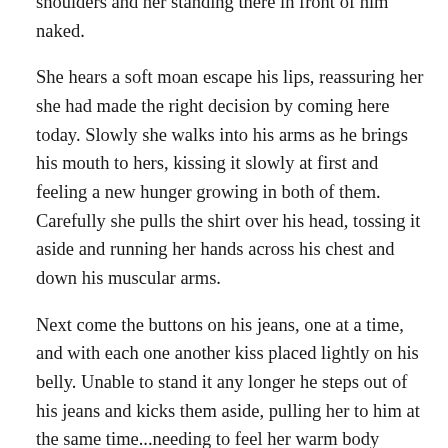shoulders and her standing there in front of him naked.
She hears a soft moan escape his lips, reassuring her she had made the right decision by coming here today. Slowly she walks into his arms as he brings his mouth to hers, kissing it slowly at first and feeling a new hunger growing in both of them. Carefully she pulls the shirt over his head, tossing it aside and running her hands across his chest and down his muscular arms.
Next come the buttons on his jeans, one at a time, and with each one another kiss placed lightly on his belly. Unable to stand it any longer he steps out of his jeans and kicks them aside, pulling her to him at the same time...needing to feel her warm body against his.
Together they lie on the blanket, kissing and feeling, remembering, and losing themselves in the feel, the smell, and the taste of each other. Both realizing it has been far to long since they have spent this much time